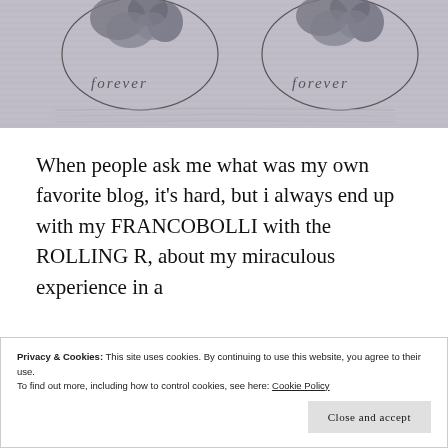[Figure (illustration): Grayscale image showing two circular stamp-like designs with floral/rose motifs and the word 'forever' written in italic script beneath each stamp. Background has faint horizontal line texture.]
When people ask me what was my own favorite blog, it's hard, but i always end up with my FRANCOBOLLI with the ROLLING R, about my miraculous experience in a
Privacy & Cookies: This site uses cookies. By continuing to use this website, you agree to their use.
To find out more, including how to control cookies, see here: Cookie Policy
Close and accept